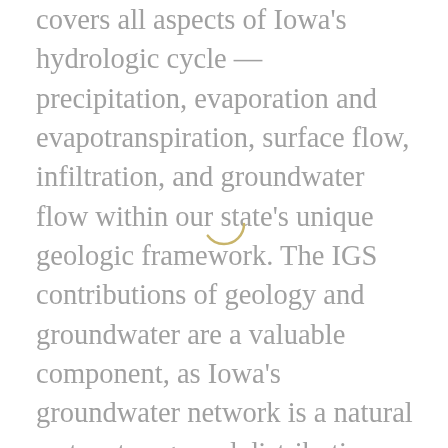covers all aspects of Iowa's hydrologic cycle — precipitation, evaporation and evapotranspiration, surface flow, infiltration, and groundwater flow within our state's unique geologic framework. The IGS contributions of geology and groundwater are a valuable component, as Iowa's groundwater network is a natural water storage and distribution system that provides drinking water for more than 80 percent of Iowa's population and supports Iowa's important agricultural economy. Over one hundred thousand wells across the